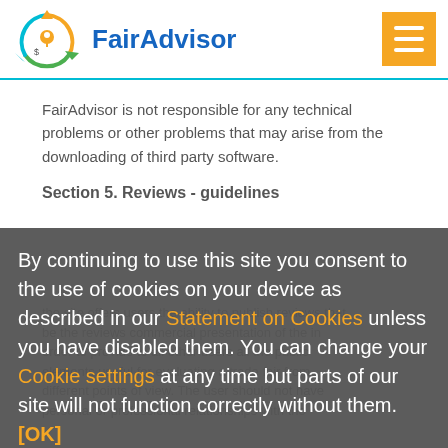FairAdvisor
FairAdvisor is not responsible for any technical problems or other problems that may arise from the downloading of third party software.
Section 5. Reviews - guidelines
By continuing to use this site you consent to the use of cookies on your device as described in our Statement on Cookies unless you have disabled them. You can change your Cookie settings at any time but parts of our site will not function correctly without them. [OK]
the site offers users the ability to publish reviews that be the reviews commercial presentation of the in order to provide to all other users all the public elements useful for evaluating a trade fair from different points of view. The user should not have personal or professional relationships with the